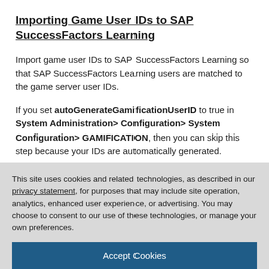Importing Game User IDs to SAP SuccessFactors Learning
Import game user IDs to SAP SuccessFactors Learning so that SAP SuccessFactors Learning users are matched to the game server user IDs.
If you set autoGenerateGamificationUserID to true in System Administration> Configuration>  System Configuration> GAMIFICATION, then you can skip this step because your IDs are automatically generated.
This site uses cookies and related technologies, as described in our privacy statement, for purposes that may include site operation, analytics, enhanced user experience, or advertising. You may choose to consent to our use of these technologies, or manage your own preferences.
Accept Cookies
More Information
Privacy Policy | Powered by:  TrustArc
recommended that after you import, you check a few users in